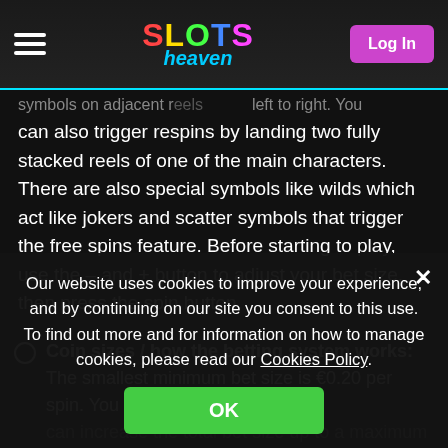Slots Heaven — Log In
symbols on adjacent reels left to right. You can also trigger respins by landing two fully stacked reels of one of the main characters. There are also special symbols like wilds which act like jokers and scatter symbols that trigger the free spins feature. Before starting to play, use the – and + button to adjust your bet size, then press the spin button.
Coin sizes / how the betting system works: The smallest minimum bet size is €0.20 per spin. You can increase the total bet size up to a maximum of €500.
make up the high-paying symbols, while the Greek letters Alpha, Beta, Omega, and Zeta make up the low-paying
Standard: Helen is the highest-paying
Our website uses cookies to improve your experience, and by continuing on our site you consent to this use. To find out more and for information on how to manage cookies, please read our Cookies Policy.